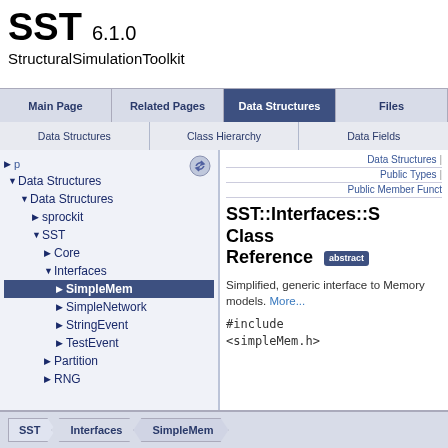SST 6.1.0 StructuralSimulationToolkit
Main Page | Related Pages | Data Structures | Files
Data Structures | Class Hierarchy | Data Fields
Data Structures > Data Structures > sprockit > SST > Core > Interfaces > SimpleMem
Data Structures | Public Types | Public Member Func
SST::Interfaces::S... Class Reference abstract
Simplified, generic interface to Memory models. More...
#include
<simpleMem.h>